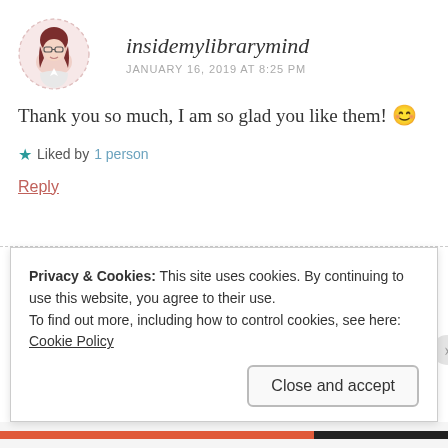[Figure (illustration): Circular avatar of a girl with red hair and glasses on a pink background]
insidemylibrarymind
JANUARY 16, 2019 AT 8:25 PM
Thank you so much, I am so glad you like them! 😊
★ Liked by 1 person
Reply
Privacy & Cookies: This site uses cookies. By continuing to use this website, you agree to their use.
To find out more, including how to control cookies, see here:
Cookie Policy
Close and accept